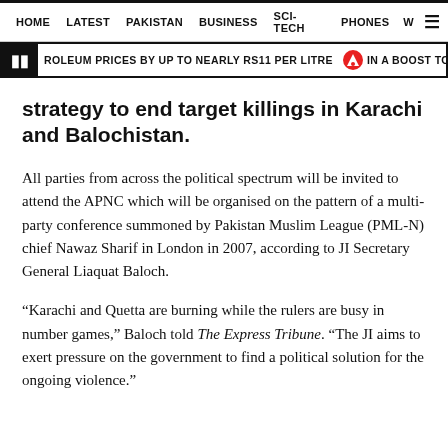HOME   LATEST   PAKISTAN   BUSINESS   SCI-TECH   PHONES   W  ≡
ROLEUM PRICES BY UP TO NEARLY RS11 PER LITRE   IN A BOOST TO DWINDLING
strategy to end target killings in Karachi and Balochistan.
All parties from across the political spectrum will be invited to attend the APNC which will be organised on the pattern of a multi-party conference summoned by Pakistan Muslim League (PML-N) chief Nawaz Sharif in London in 2007, according to JI Secretary General Liaquat Baloch.
“Karachi and Quetta are burning while the rulers are busy in number games,” Baloch told The Express Tribune. “The JI aims to exert pressure on the government to find a political solution for the ongoing violence.”